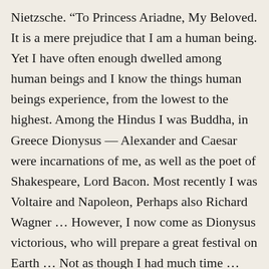Nietzsche. “To Princess Ariadne, My Beloved. It is a mere prejudice that I am a human being. Yet I have often enough dwelled among human beings and I know the things human beings experience, from the lowest to the highest. Among the Hindus I was Buddha, in Greece Dionysus — Alexander and Caesar were incarnations of me, as well as the poet of Shakespeare, Lord Bacon. Most recently I was Voltaire and Napoleon, Perhaps also Richard Wagner … However, I now come as Dionysus victorious, who will prepare a great festival on Earth … Not as though I had much time … The heavens rejoice to see me here … I also hung on the cross …”